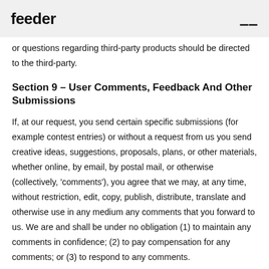feeder
or questions regarding third-party products should be directed to the third-party.
Section 9 – User Comments, Feedback And Other Submissions
If, at our request, you send certain specific submissions (for example contest entries) or without a request from us you send creative ideas, suggestions, proposals, plans, or other materials, whether online, by email, by postal mail, or otherwise (collectively, 'comments'), you agree that we may, at any time, without restriction, edit, copy, publish, distribute, translate and otherwise use in any medium any comments that you forward to us. We are and shall be under no obligation (1) to maintain any comments in confidence; (2) to pay compensation for any comments; or (3) to respond to any comments.